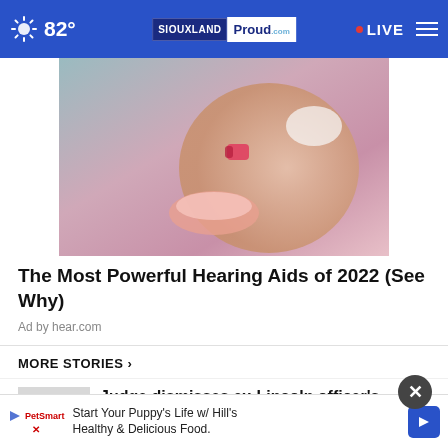82° SIOUXLAND Proud • LIVE
[Figure (photo): Close-up of a person placing a small hearing aid device into their ear, with pink fingernails visible]
The Most Powerful Hearing Aids of 2022 (See Why)
Ad by hear.com
MORE STORIES ›
Judge dismisses ex-Lincoln officer's discrimination ...
Suspect uses stolen pickun to break ...
Start Your Puppy's Life w/ Hill's Healthy & Delicious Food.